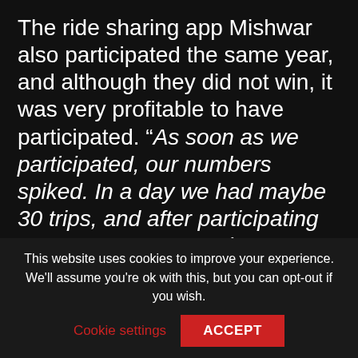The ride sharing app Mishwar also participated the same year, and although they did not win, it was very profitable to have participated. “As soon as we participated, our numbers spiked. In a day we had maybe 30 trips, and after participating we got 100”, says Tarig.
Tirhal also participated in a Get in the Ring event, in 2016, and one year later
This website uses cookies to improve your experience. We'll assume you're ok with this, but you can opt-out if you wish.
Cookie settings   ACCEPT